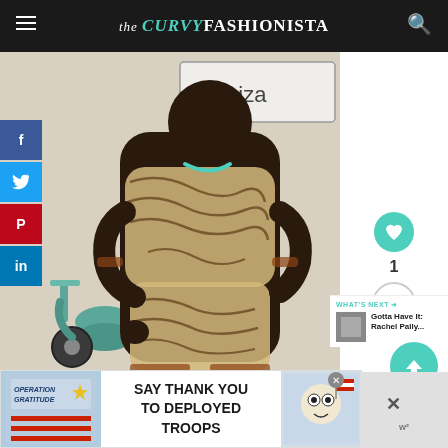the CURVY FASHIONISTA
[Figure (photo): Plus-size model wearing a swirling earth-tone print two-piece set (top and shorts) standing next to a vintage teal scooter/motorcycle, with a sign reading 'Ibiza' in the background]
[Figure (infographic): Social media share buttons: Facebook (blue), Twitter (blue), Pinterest (red), LinkedIn (teal)]
[Figure (infographic): Heart/like button (teal circle) with count of 1, and share button]
WHAT'S NEXT → Gotta Have It: Rachel Pally...
[Figure (photo): Thumbnail photo for the 'What's Next' section]
[Figure (infographic): Up arrow navigation button (teal circle)]
[Figure (infographic): Advertisement banner: Operation Gratitude — SAY THANK YOU TO DEPLOYED TROOPS]
SAY THANK YOU TO DEPLOYED TROOPS